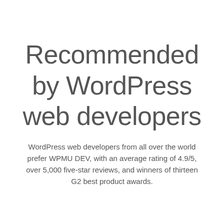Recommended by WordPress web developers
WordPress web developers from all over the world prefer WPMU DEV, with an average rating of 4.9/5, over 5,000 five-star reviews, and winners of thirteen G2 best product awards.